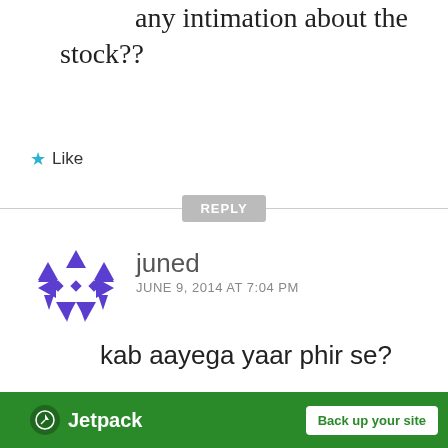any intimation about the stock??
Like
REPLY
[Figure (illustration): Purple geometric snowflake-like avatar made of triangles and diamonds for user juned]
juned
JUNE 9, 2014 AT 7:04 PM
kab aayega yaar phir se?
Like
[Figure (logo): Jetpack advertisement banner with green background, Jetpack logo on left and 'Back up your site' button on right]
Advertisements
Back up your site